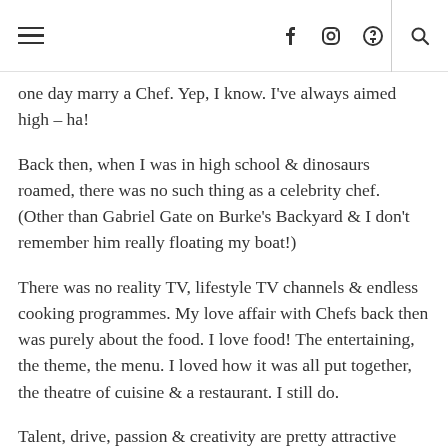≡ f ⊡ ⊕ 🔍
one day marry a Chef.  Yep, I know.  I've always aimed high – ha!
Back then, when I was in high school & dinosaurs roamed, there was no such thing as a celebrity chef.  (Other than Gabriel Gate on Burke's Backyard & I don't remember him really floating my boat!)
There was no reality TV, lifestyle TV channels & endless cooking programmes.  My love affair with Chefs back then was purely about the food.   I love food!  The entertaining, the theme, the menu.  I loved how it was all put together, the theatre of cuisine & a restaurant.  I still do.
Talent, drive, passion & creativity are pretty attractive traits in anybody.  I'm sure this is